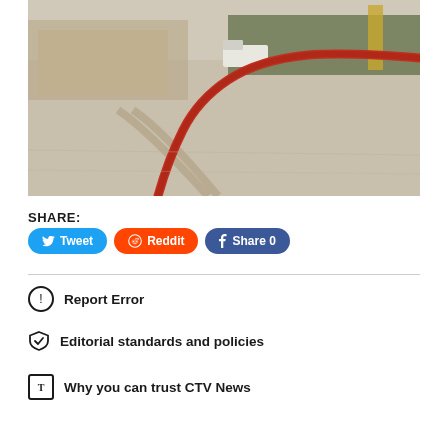[Figure (photo): Outdoor photo of a large red fire hose laid across a wide concrete surface/parking lot, curving across the foreground. In the background there are industrial or commercial buildings, a white truck, trees, and heavy equipment.]
SHARE:
Tweet | Reddit | Share 0
Report Error
Editorial standards and policies
Why you can trust CTV News